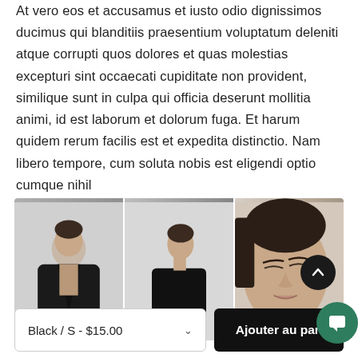At vero eos et accusamus et iusto odio dignissimos ducimus qui blanditiis praesentium voluptatum deleniti atque corrupti quos dolores et quas molestias excepturi sint occaecati cupiditate non provident, similique sunt in culpa qui officia deserunt mollitia animi, id est laborum et dolorum fuga. Et harum quidem rerum facilis est et expedita distinctio. Nam libero tempore, cum soluta nobis est eligendi optio cumque nihil
[Figure (photo): Three-panel fashion photo strip showing a model wearing a black jacket in three poses: front leaning against wall, side profile view, and close-up face with eyes closed]
Black / S - $15.00
Ajouter au pan